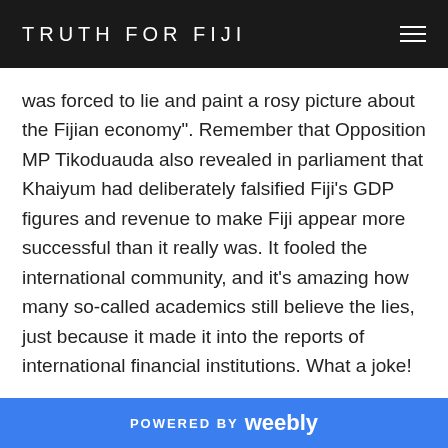TRUTH FOR FIJI
was forced to lie and paint a rosy picture about the Fijian economy". Remember that Opposition MP Tikoduauda also revealed in parliament that Khaiyum had deliberately falsified Fiji's GDP figures and revenue to make Fiji appear more successful than it really was. It fooled the international community, and it's amazing how many so-called academics still believe the lies, just because it made it into the reports of international financial institutions. What a joke!
So clearly, Sayed-Khaiyum got upset and resented the truth about his failed leadership, corruption and
POWERED BY weebly